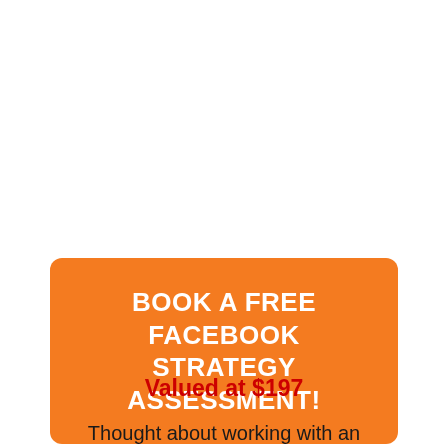BOOK A FREE FACEBOOK STRATEGY ASSESSMENT!
Valued at $197
Thought about working with an